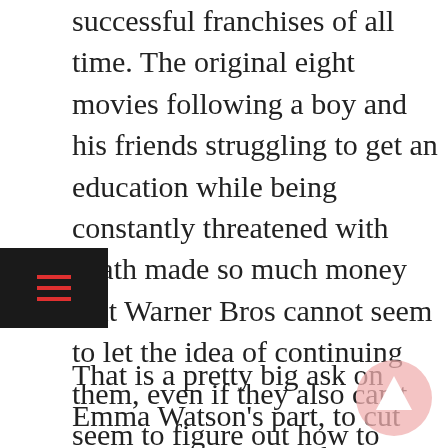successful franchises of all time. The original eight movies following a boy and his friends struggling to get an education while being constantly threatened with death made so much money that Warner Bros cannot seem to let the idea of continuing them, even if they also can't seem to figure out how to make them work. A key part of that would be getting back the original stars of Harry Potter, but our trusted and proven sources have told Emma Watson will only return to the franchise if JK Rowling is not involved in any way.
That is a pretty big ask on Emma Watson's part, to cut the original author of the Harry